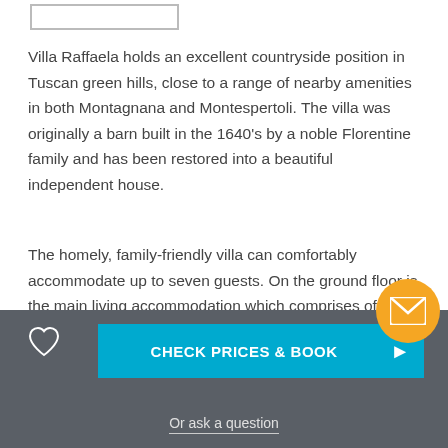Villa Raffaela holds an excellent countryside position in Tuscan green hills, close to a range of nearby amenities in both Montagnana and Montespertoli. The villa was originally a barn built in the 1640's by a noble Florentine family and has been restored into a beautiful independent house.
The homely, family-friendly villa can comfortably accommodate up to seven guests. On the ground floor is the main living accommodation which comprises of living and dining rooms as well as a fully-equipped fitted kitchen…
CHECK PRICES & BOOK
Or ask a question